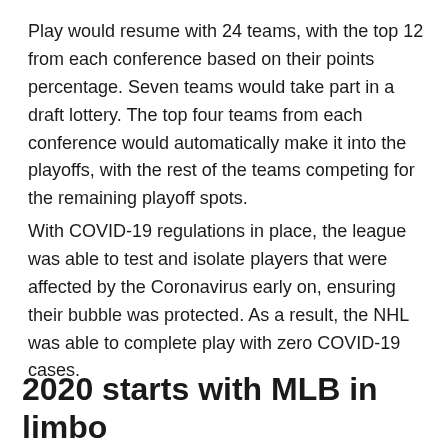Play would resume with 24 teams, with the top 12 from each conference based on their points percentage. Seven teams would take part in a draft lottery. The top four teams from each conference would automatically make it into the playoffs, with the rest of the teams competing for the remaining playoff spots.
With COVID-19 regulations in place, the league was able to test and isolate players that were affected by the Coronavirus early on, ensuring their bubble was protected. As a result, the NHL was able to complete play with zero COVID-19 cases.
2020 starts with MLB in limbo